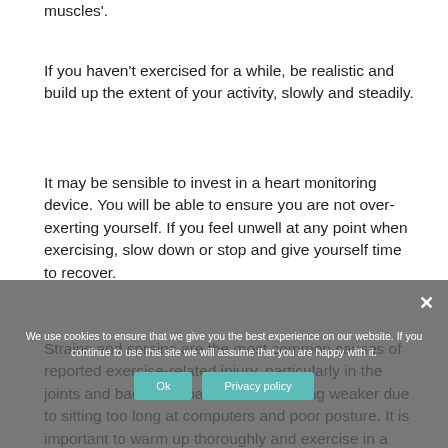muscles'.
If you haven't exercised for a while, be realistic and build up the extent of your activity, slowly and steadily.
It may be sensible to invest in a heart monitoring device. You will be able to ensure you are not over-exerting yourself. If you feel unwell at any point when exercising, slow down or stop and give yourself time to recover.
Strains and sprains are the most common causes of reported exercise-related injury, particularly in the joints and back. Our backs are becoming weaker due to sitting too long at computers and poor posture. It is important to warm up thoroughly and exercise in a manner that does not put additional strain on our backs and other muscles.